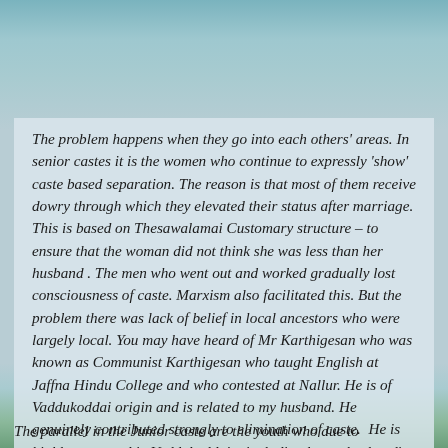The problem happens when they go into each others' areas. In senior castes it is the women who continue to expressly 'show' caste based separation. The reason is that most of them receive dowry through which they elevated their status after marriage. This is based on Thesawalamai Customary structure – to ensure that the woman did not think she was less than her husband . The men who went out and worked gradually lost consciousness of caste. Marxism also facilitated this. But the problem there was lack of belief in local ancestors who were largely local. You may have heard of Mr Karthigesan who was known as Communist Karthigesan who taught English at Jaffna Hindu College and who contested at Nallur. He is of Vaddukoddai origin and is related to my husband. He genuinely contributed strongly to elimination of caste. He is highly respected in Vaddukoddai – including by my husband's family.
The parallel in the Junior caste are the youth who due to